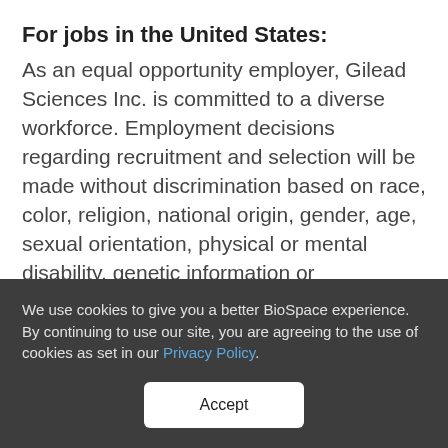For jobs in the United States:
As an equal opportunity employer, Gilead Sciences Inc. is committed to a diverse workforce. Employment decisions regarding recruitment and selection will be made without discrimination based on race, color, religion, national origin, gender, age, sexual orientation, physical or mental disability, genetic information or characteristic, gender identity and expression, veteran status, or other non-job related characteristics or other prohibited grounds specified in applicable federal, state and local laws. In
We use cookies to give you a better BioSpace experience. By continuing to use our site, you are agreeing to the use of cookies as set in our Privacy Policy.
Accept